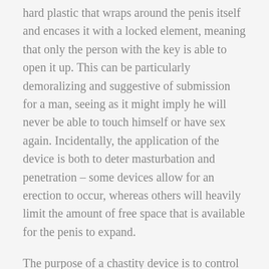hard plastic that wraps around the penis itself and encases it with a locked element, meaning that only the person with the key is able to open it up. This can be particularly demoralizing and suggestive of submission for a man, seeing as it might imply he will never be able to touch himself or have sex again. Incidentally, the application of the device is both to deter masturbation and penetration – some devices allow for an erection to occur, whereas others will heavily limit the amount of free space that is available for the penis to expand.
The purpose of a chastity device is to control the sexual habits and experiences of the person that is locked up. Some men might be accused of perverted behaviors, including excessive masturbation or attempting to have sex with multiple women. Chastity devices can then be